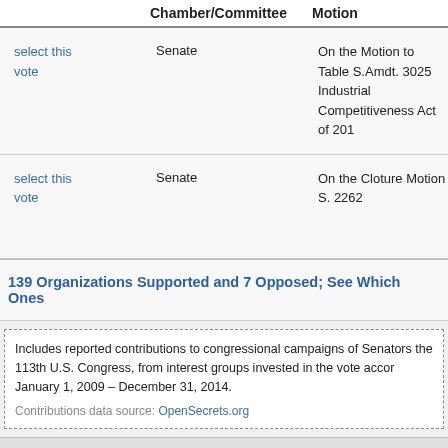|  | Chamber/Committee | Motion |
| --- | --- | --- |
| select this vote | Senate | On the Motion to Table S.Amdt. 3025 Industrial Competitiveness Act of 201... |
| select this vote | Senate | On the Cloture Motion S. 2262 |
139 Organizations Supported and 7 Opposed; See Which Ones
Includes reported contributions to congressional campaigns of Senators the 113th U.S. Congress, from interest groups invested in the vote accor... January 1, 2009 – December 31, 2014.
Contributions data source: OpenSecrets.org
Add Data Filters:
Legislators
Interest Groups
Date Range